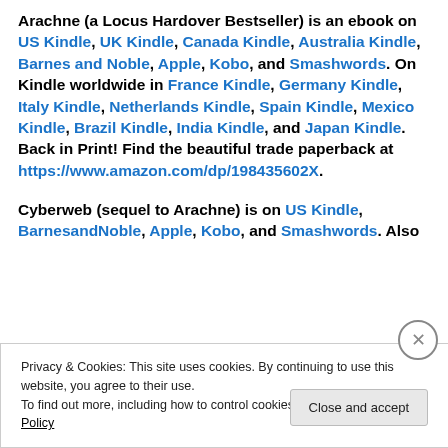Arachne (a Locus Hardover Bestseller) is an ebook on US Kindle, UK Kindle, Canada Kindle, Australia Kindle, Barnes and Noble, Apple, Kobo, and Smashwords. On Kindle worldwide in France Kindle, Germany Kindle, Italy Kindle, Netherlands Kindle, Spain Kindle, Mexico Kindle, Brazil Kindle, India Kindle, and Japan Kindle. Back in Print! Find the beautiful trade paperback at https://www.amazon.com/dp/198435602X.
Cyberweb (sequel to Arachne) is on US Kindle, BarnesandNoble, Apple, Kobo, and Smashwords. Also
Privacy & Cookies: This site uses cookies. By continuing to use this website, you agree to their use.
To find out more, including how to control cookies, see here: Cookie Policy